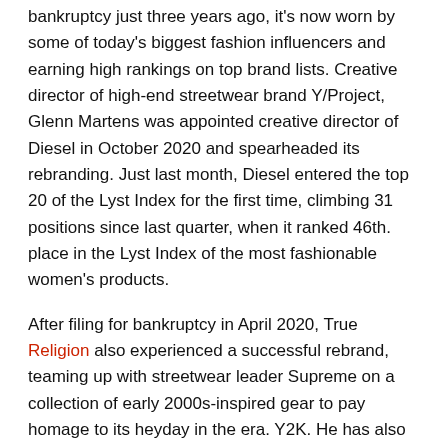bankruptcy just three years ago, it's now worn by some of today's biggest fashion influencers and earning high rankings on top brand lists. Creative director of high-end streetwear brand Y/Project, Glenn Martens was appointed creative director of Diesel in October 2020 and spearheaded its rebranding. Just last month, Diesel entered the top 20 of the Lyst Index for the first time, climbing 31 positions since last quarter, when it ranked 46th. place in the Lyst Index of the most fashionable women's products.
After filing for bankruptcy in April 2020, True Religion also experienced a successful rebrand, teaming up with streetwear leader Supreme on a collection of early 2000s-inspired gear to pay homage to its heyday in the era. Y2K. He has also worked with rappers Chief Keef and 2 Chainz on collections full of nostalgia.
Related Posts:
1. Lynn Goldstein becomes Springfield's first female